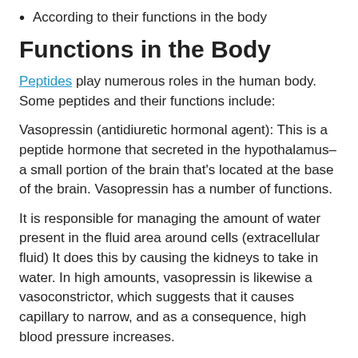According to their functions in the body
Functions in the Body
Peptides play numerous roles in the human body. Some peptides and their functions include:
Vasopressin (antidiuretic hormonal agent): This is a peptide hormone that secreted in the hypothalamus– a small portion of the brain that's located at the base of the brain. Vasopressin has a number of functions.
It is responsible for managing the amount of water present in the fluid area around cells (extracellular fluid) It does this by causing the kidneys to take in water. In high amounts, vasopressin is likewise a vasoconstrictor, which suggests that it causes capillary to narrow, and as a consequence, high blood pressure increases.
Oxytocin: This peptide hormonal agent is produced by the